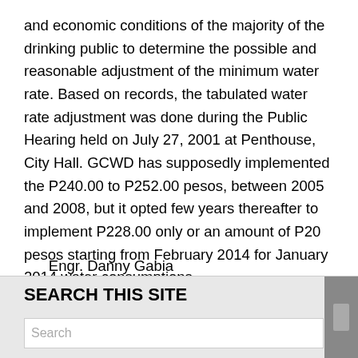and economic conditions of the majority of the drinking public to determine the possible and reasonable adjustment of the minimum water rate. Based on records, the tabulated water rate adjustment was done during the Public Hearing held on July 27, 2001 at Penthouse, City Hall. GCWD has supposedly implemented the P240.00 to P252.00 pesos, between 2005 and 2008, but it opted few years thereafter to implement P228.00 only or an amount of P20 pesos starting from February 2014 for January 2014 water consumptions.
Engr. Danny Gabia
Admin/Gen. Services Div. Manager – C
SEARCH THIS SITE